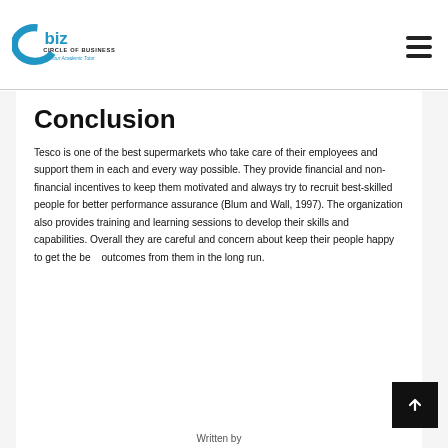Cbiz – Circle of Business – Your Academic Tutor
Conclusion
Tesco is one of the best supermarkets who take care of their employees and support them in each and every way possible. They provide financial and non-financial incentives to keep them motivated and always try to recruit best-skilled people for better performance assurance (Blum and Wall, 1997). The organization also provides training and learning sessions to develop their skills and capabilities. Overall they are careful and concern about keep their people happy to get the best outcomes from them in the long run.
Written by